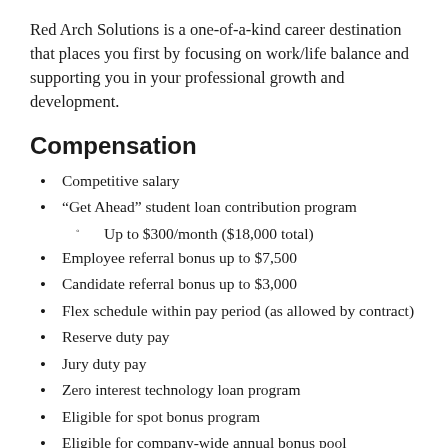Red Arch Solutions is a one-of-a-kind career destination that places you first by focusing on work/life balance and supporting you in your professional growth and development.
Compensation
Competitive salary
“Get Ahead” student loan contribution program
Up to $300/month ($18,000 total)
Employee referral bonus up to $7,500
Candidate referral bonus up to $3,000
Flex schedule within pay period (as allowed by contract)
Reserve duty pay
Jury duty pay
Zero interest technology loan program
Eligible for spot bonus program
Eligible for company-wide annual bonus pool
Eligible for annual utilization bonus
LandsEnd gift certificates for branded merchandise